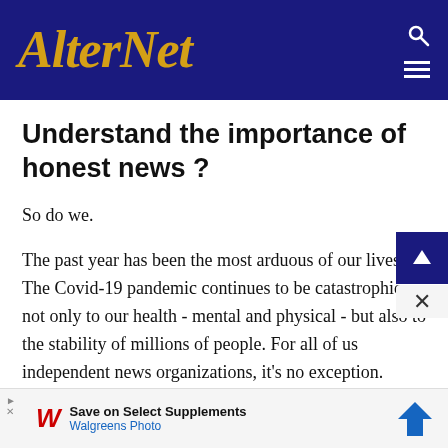AlterNet
Understand the importance of honest news ?
So do we.
The past year has been the most arduous of our lives. The Covid-19 pandemic continues to be catastrophic not only to our health - mental and physical - but also to the stability of millions of people. For all of us independent news organizations, it's no exception.
We've covered everything thrown at us this past year
[Figure (other): Walgreens advertisement: Save on Select Supplements - Walgreens Photo, with navigation arrow icon]